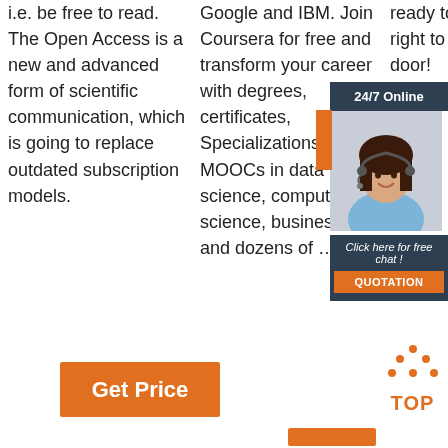i.e. be free to read. The Open Access is a new and advanced form of scientific communication, which is going to replace outdated subscription models.
Google and IBM. Join Coursera for free and transform your career with degrees, certificates, Specializations, & MOOCs in data science, computer science, business, and dozens of ...
ready to ship right to your door!
[Figure (infographic): 24/7 Online customer support ad with woman wearing headset, Click here for free chat, QUOTATION button]
[Figure (logo): TOP icon with orange dots arranged in triangle above the word TOP in orange]
Get Price
QUOTATION